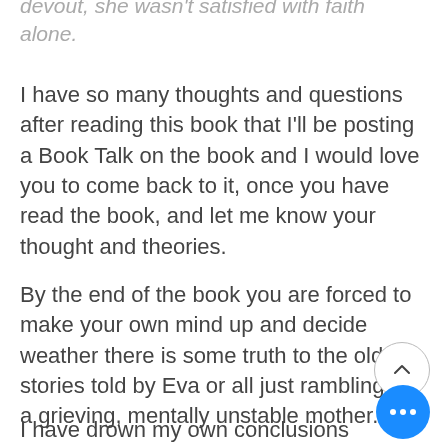devout, she wasn't satisfied with faith alone.
I have so many thoughts and questions after reading this book that I'll be posting a Book Talk on the book and I would love you to come back to it, once you have read the book, and let me know your thought and theories.
By the end of the book you are forced to make your own mind up and decide weather there is some truth to the old stories told by Eva or all just ramblings or a grieving, mentally unstable mother.
I have drown my own conclusions